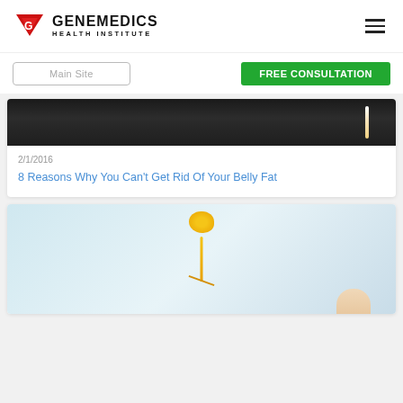[Figure (logo): Genemedics Health Institute logo with red chevron/G icon and text]
Main Site
FREE CONSULTATION
[Figure (photo): Close-up photo of person's midsection wearing dark pants with a measuring tape, representing belly fat]
2/1/2016
8 Reasons Why You Can't Get Rid Of Your Belly Fat
[Figure (photo): Illustration of a sperm approaching an egg, connected by a yellow cord/tail, over a light blue background with a finger at bottom right]